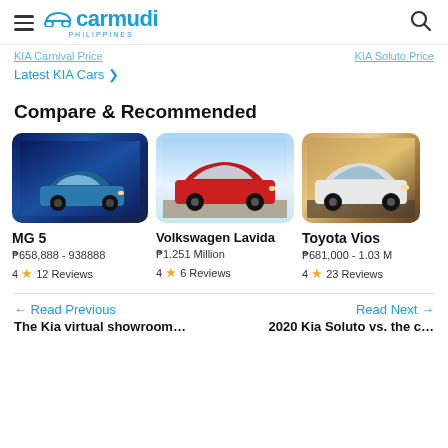Carmudi Philippines
KIA Carnival Price   KIA Soluto Price
Latest KIA Cars >
Compare & Recommended
[Figure (photo): MG 5 sedan car in blue/teal color at night city background]
MG 5
P658,888 - 938888
4 ★ 12 Reviews
[Figure (photo): Volkswagen Lavida red sedan on cobblestone road with sky background]
Volkswagen Lavida
P1.251 Million
4 ★ 6 Reviews
[Figure (photo): Toyota Vios white car in dark garage/warehouse setting]
Toyota Vios
P681,000 - 1.03 M
4 ★ 23 Reviews
← Read Previous
The Kia virtual showroom…
Read Next →
2020 Kia Soluto vs. the c…